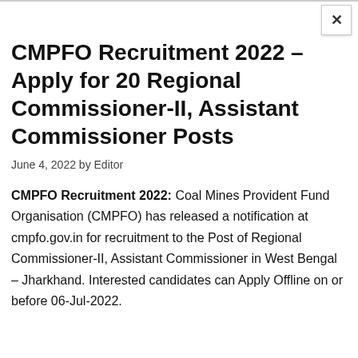CMPFO Recruitment 2022 – Apply for 20 Regional Commissioner-II, Assistant Commissioner Posts
June 4, 2022 by Editor
CMPFO Recruitment 2022: Coal Mines Provident Fund Organisation (CMPFO) has released a notification at cmpfo.gov.in for recruitment to the Post of Regional Commissioner-II, Assistant Commissioner in West Bengal – Jharkhand. Interested candidates can Apply Offline on or before 06-Jul-2022.